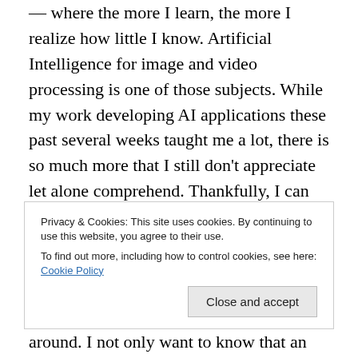— where the more I learn, the more I realize how little I know. Artificial Intelligence for image and video processing is one of those subjects. While my work developing AI applications these past several weeks taught me a lot, there is so much more that I still don't appreciate let alone comprehend. Thankfully, I can be quite tenacious when it comes to concepts that capture my attention and I keep plugging along until I finally reach a place of comfort.

In Image Analysis from AWS Rekognition and Avaya OneCoud CPaas, I demonstrated how AI can examine a
Privacy & Cookies: This site uses cookies. By continuing to use this website, you agree to their use.
To find out more, including how to control cookies, see here: Cookie Policy
[Close and accept]
around. I not only want to know that an image contains a